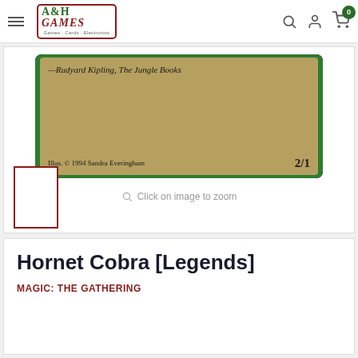A&H Games - Games · Cards · Electronics
[Figure (photo): Bottom portion of a Magic: The Gathering card - Hornet Cobra [Legends]. Shows green card frame with text '—Rudyard Kipling, The Jungle Books', illustration credit 'Illus. © 1994 Sandra Everingham', and power/toughness '2/1'.]
Click on image to zoom
[Figure (photo): Small thumbnail placeholder box with dark red border]
Hornet Cobra [Legends]
MAGIC: THE GATHERING